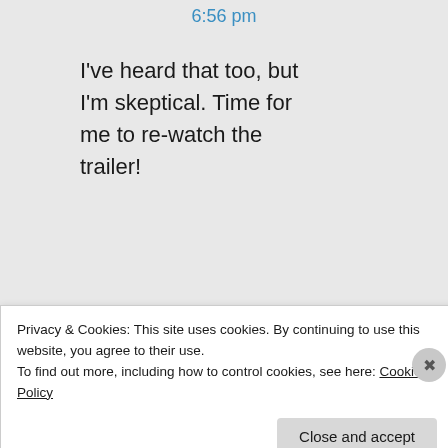6:56 pm
I've heard that too, but I'm skeptical. Time for me to re-watch the trailer!
★ Like
Log in to Reply
Privacy & Cookies: This site uses cookies. By continuing to use this website, you agree to their use.
To find out more, including how to control cookies, see here: Cookie Policy
Close and accept